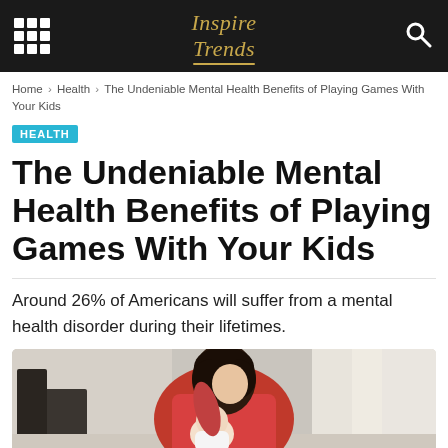Inspire Trends
Home › Health › The Undeniable Mental Health Benefits of Playing Games With Your Kids
HEALTH
The Undeniable Mental Health Benefits of Playing Games With Your Kids
Around 26% of Americans will suffer from a mental health disorder during their lifetimes.
[Figure (photo): A woman in a pink jacket holds a baby, leaning over the infant in what appears to be a home setting with light curtains in the background.]